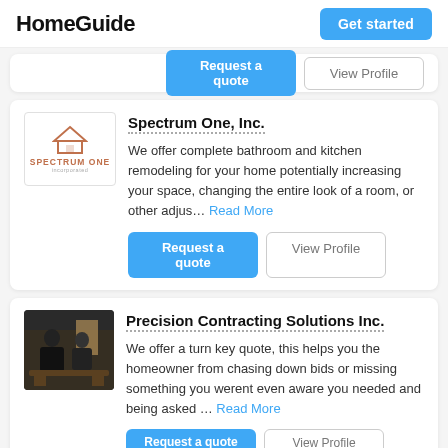HomeGuide
[Figure (screenshot): Partial card with two buttons partially visible at top]
Spectrum One, Inc. — We offer complete bathroom and kitchen remodeling for your home potentially increasing your space, changing the entire look of a room, or other adjus... Read More
Precision Contracting Solutions Inc. — We offer a turn key quote, this helps you the homeowner from chasing down bids or missing something you werent even aware you needed and being asked ... Read More